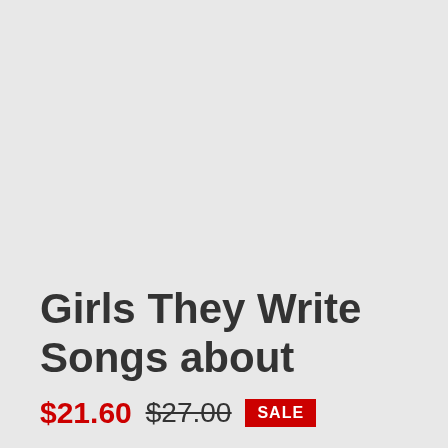[Figure (other): Large grey placeholder image area occupying upper two-thirds of the page]
Girls They Write Songs about
$21.60  $27.00  SALE